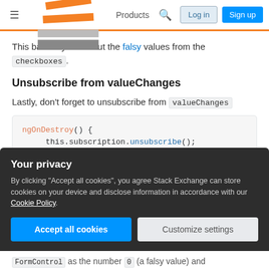≡  [Stack Overflow logo]  Products    🔍   Log in   Sign up
This basically filters out the falsy values from the checkboxes.
Unsubscribe from valueChanges
Lastly, don't forget to unsubscribe from valueChanges
[Figure (screenshot): Code block showing ngOnDestroy() { this.subscription.unsubscribe(); }]
Your privacy
By clicking "Accept all cookies", you agree Stack Exchange can store cookies on your device and disclose information in accordance with our Cookie Policy.
[Accept all cookies] [Customize settings]
FormControl as the number 0 (a falsy value) and